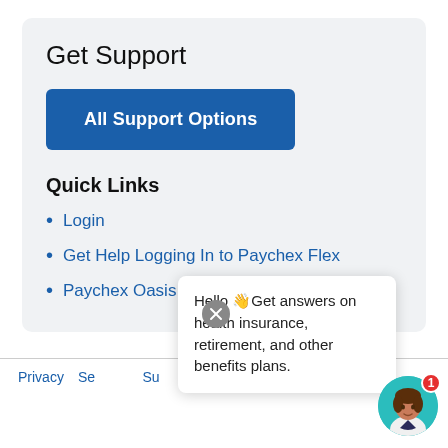Get Support
All Support Options
Quick Links
Login
Get Help Logging In to Paychex Flex
Paychex Oasis Login Help
Privacy  Security  Sitemap  Legal
Hello 👋Get answers on health insurance, retirement, and other benefits plans.
[Figure (illustration): Chat avatar: animated female figure on teal background with notification badge showing 1]